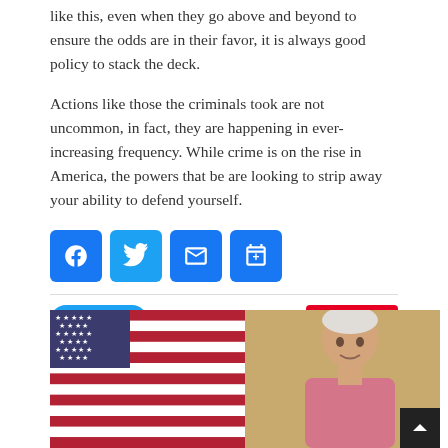like this, even when they go above and beyond to ensure the odds are in their favor, it is always good policy to stack the deck.
Actions like those the criminals took are not uncommon, in fact, they are happening in ever-increasing frequency. While crime is on the rise in America, the powers that be are looking to strip away your ability to defend yourself.
[Figure (other): Social sharing buttons: Facebook, Twitter, Email, More (share)]
[Figure (other): Tweet button (blue, rounded) on the left and Save button (red, Pinterest) on the right]
[Figure (photo): Photograph of an older white-haired man in a pink shirt speaking in front of an American flag]